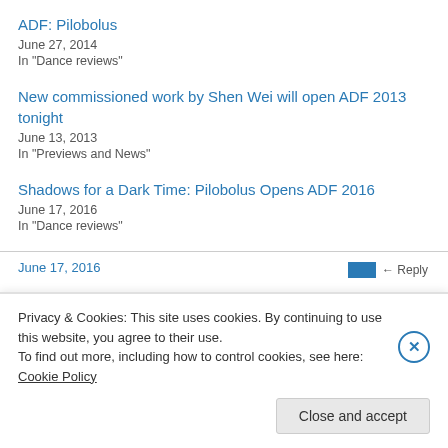ADF: Pilobolus
June 27, 2014
In "Dance reviews"
New commissioned work by Shen Wei will open ADF 2013 tonight
June 13, 2013
In "Previews and News"
Shadows for a Dark Time: Pilobolus Opens ADF 2016
June 17, 2016
In "Dance reviews"
Privacy & Cookies: This site uses cookies. By continuing to use this website, you agree to their use.
To find out more, including how to control cookies, see here: Cookie Policy
Close and accept